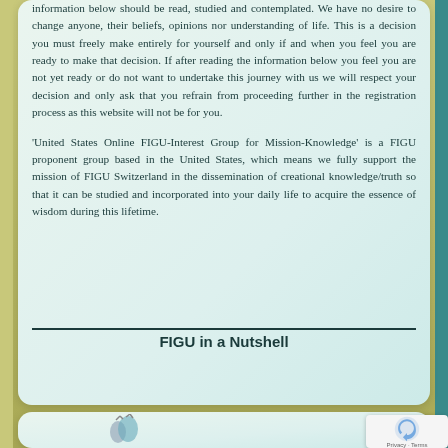information below should be read, studied and contemplated. We have no desire to change anyone, their beliefs, opinions nor understanding of life. This is a decision you must freely make entirely for yourself and only if and when you feel you are ready to make that decision. If after reading the information below you feel you are not yet ready or do not want to undertake this journey with us we will respect your decision and only ask that you refrain from proceeding further in the registration process as this website will not be for you.
'United States Online FIGU-Interest Group for Mission-Knowledge' is a FIGU proponent group based in the United States, which means we fully support the mission of FIGU Switzerland in the dissemination of creational knowledge/truth so that it can be studied and incorporated into your daily life to acquire the essence of wisdom during this lifetime.
FIGU in a Nutshell
[Figure (logo): FIGU or organization logo at bottom of page]